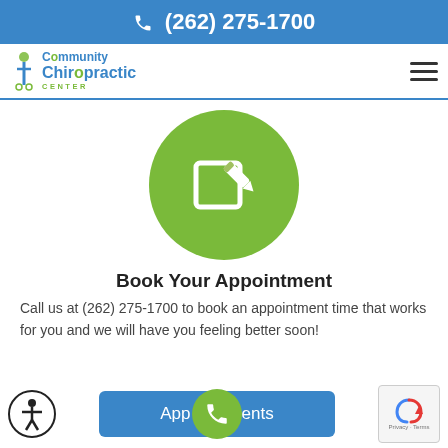(262) 275-1700
[Figure (logo): Community Chiropractic Center logo with blue and green text]
[Figure (illustration): Green circle with white edit/pencil icon for booking appointment]
Book Your Appointment
Call us at (262) 275-1700 to book an appointment time that works for you and we will have you feeling better soon!
[Figure (screenshot): Blue Appointments button with green phone float button and accessibility icon and reCAPTCHA widget at bottom]